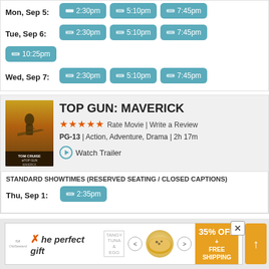Mon, Sep 5: 2:30pm 5:10pm 7:45pm
Tue, Sep 6: 2:30pm 5:10pm 7:45pm 10:25pm
Wed, Sep 7: 2:30pm 5:10pm 7:45pm
[Figure (photo): Top Gun: Maverick movie poster]
TOP GUN: MAVERICK
★★★★★ Rate Movie | Write a Review
PG-13 | Action, Adventure, Drama | 2h 17m
Watch Trailer
STANDARD SHOWTIMES (RESERVED SEATING / CLOSED CAPTIONS)
Thu, Sep 1: 2:35pm
[Figure (infographic): Advertisement banner: The perfect gift, 35% OFF + FREE SHIPPING]